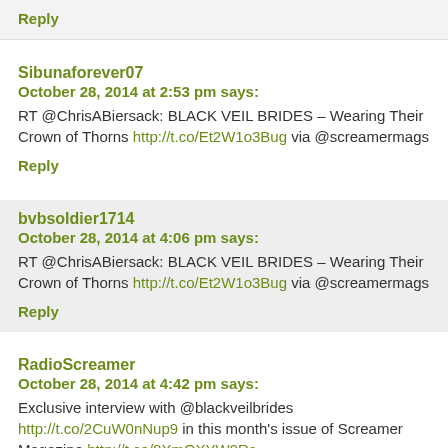Reply
Sibunaforever07
October 28, 2014 at 2:53 pm says:
RT @ChrisABiersack: BLACK VEIL BRIDES – Wearing Their Crown of Thorns http://t.co/Et2W1o3Bug via @screamermags
Reply
bvbsoldier1714
October 28, 2014 at 4:06 pm says:
RT @ChrisABiersack: BLACK VEIL BRIDES – Wearing Their Crown of Thorns http://t.co/Et2W1o3Bug via @screamermags
Reply
RadioScreamer
October 28, 2014 at 4:42 pm says:
Exclusive interview with @blackveilbrides http://t.co/2CuW0nNup9 in this month's issue of Screamer Magazine http://t.co/8XmQXYW9Rs